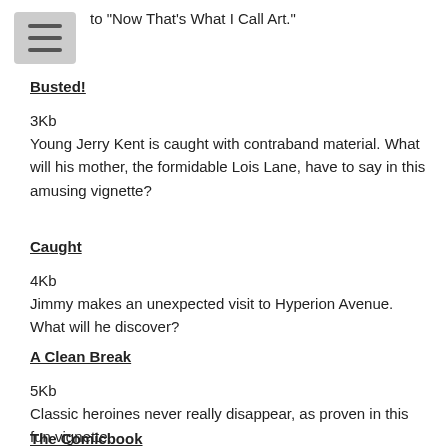to "Now That's What I Call Art."
Busted!
3Kb
Young Jerry Kent is caught with contraband material. What will his mother, the formidable Lois Lane, have to say in this amusing vignette?
Caught
4Kb
Jimmy makes an unexpected visit to Hyperion Avenue. What will he discover?
A Clean Break
5Kb
Classic heroines never really disappear, as proven in this fun vignette.
The Comicbook